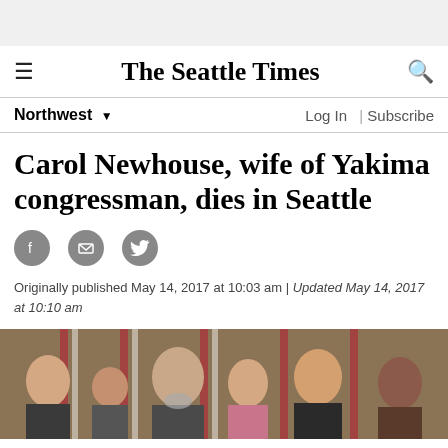The Seattle Times
Northwest ▼   Log In | Subscribe
Carol Newhouse, wife of Yakima congressman, dies in Seattle
Originally published May 14, 2017 at 10:03 am | Updated May 14, 2017 at 10:10 am
[Figure (photo): Group photo of people smiling in front of American flags in a formal setting, including an older bearded man and a man in a suit, with women on either side.]